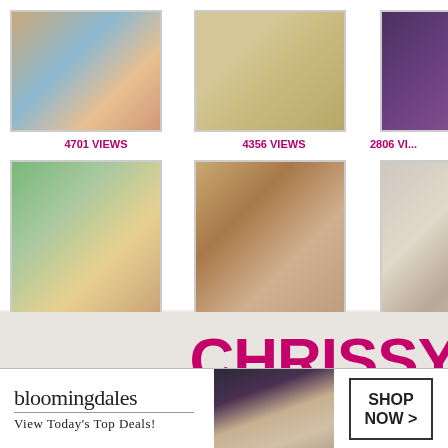[Figure (photo): Thumbnail grid of beach/bikini photos with view counts]
4701 VIEWS
4356 VIEWS
2806 VI...
1261 VIEWS
1185 VIEWS
1100 VI...
CHRISSY
[Figure (photo): Bloomingdales advertisement banner with model in large hat. Text: bloomingdales, View Today's Top Deals!, SHOP NOW >]